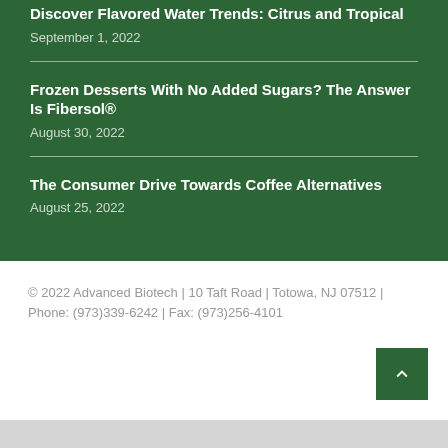Discover Flavored Water Trends: Citrus and Tropical
September 1, 2022
Frozen Desserts With No Added Sugars? The Answer Is Fibersol®
August 30, 2022
The Consumer Drive Towards Coffee Alternatives
August 25, 2022
© 2022 Advanced Biotech | 10 Taft Road | Totowa, NJ 07512 | Phone: (973)339-6242 | Fax: (973)256-4101